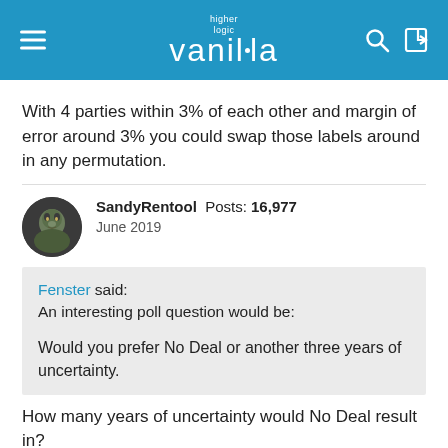higher logic vanilla
With 4 parties within 3% of each other and margin of error around 3% you could swap those labels around in any permutation.
SandyRentool  Posts: 16,977  June 2019
Fenster said:
An interesting poll question would be:

Would you prefer No Deal or another three years of uncertainty.
How many years of uncertainty would No Deal result in?